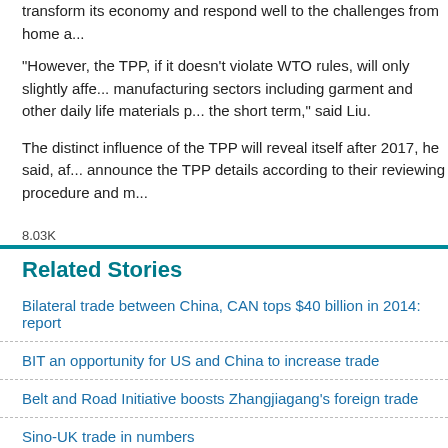transform its economy and respond well to the challenges from home a...
"However, the TPP, if it doesn't violate WTO rules, will only slightly affe... manufacturing sectors including garment and other daily life materials p... the short term," said Liu.
The distinct influence of the TPP will reveal itself after 2017, he said, af... announce the TPP details according to their reviewing procedure and m...
8.03K
Related Stories
Bilateral trade between China, CAN tops $40 billion in 2014: report
BIT an opportunity for US and China to increase trade
Belt and Road Initiative boosts Zhangjiagang's foreign trade
Sino-UK trade in numbers
China leans on higher trade surplus to lift economy
Photo